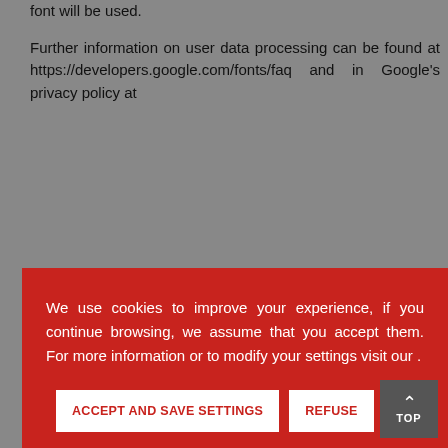font will be used.
Further information on user data processing can be found at https://developers.google.com/fonts/faq and in Google's privacy policy at
[Figure (screenshot): Red cookie consent overlay with text: 'We use cookies to improve your experience, if you continue browsing, we assume that you accept them. For more information or to modify your settings visit our .' with two buttons: 'ACCEPT AND SAVE SETTINGS' and 'REFUSE']
Judges and Courts, Interested in the proceedings relating to the complaints lodged.
How long we keep your data